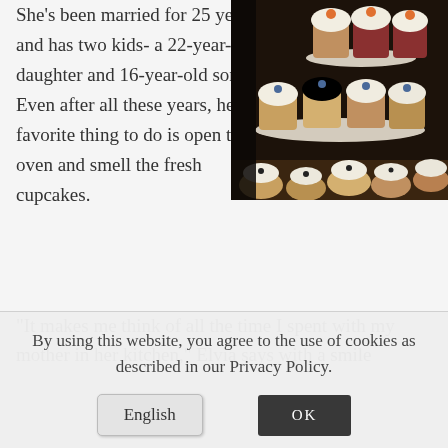She's been married for 25 years and has two kids- a 22-year-old daughter and 16-year-old son. Even after all these years, her favorite thing to do is open the oven and smell the fresh cupcakes.
[Figure (photo): A tiered stand of cupcakes with white frosting and decorative toppings, photographed at an event.]
“It makes me think of all the time I spent with my mother in her kitchen,” Elvia says with a smile
By using this website, you agree to the use of cookies as described in our Privacy Policy.
English
OK